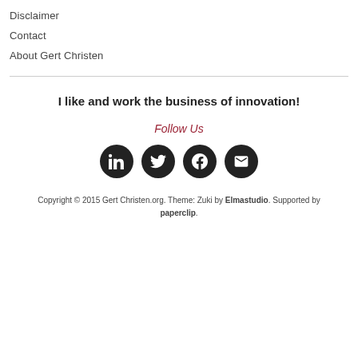Disclaimer
Contact
About Gert Christen
I like and work the business of innovation!
Follow Us
[Figure (illustration): Four social media icons: LinkedIn, Twitter, Facebook, and email — all dark circular buttons]
Copyright © 2015 Gert Christen.org. Theme: Zuki by Elmastudio. Supported by paperclip.